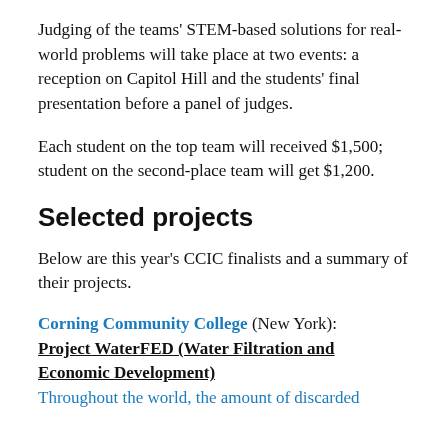Judging of the teams' STEM-based solutions for real-world problems will take place at two events: a reception on Capitol Hill and the students' final presentation before a panel of judges.
Each student on the top team will received $1,500; student on the second-place team will get $1,200.
Selected projects
Below are this year's CCIC finalists and a summary of their projects.
Corning Community College (New York): Project WaterFED (Water Filtration and Economic Development) Throughout the world, the amount of discarded